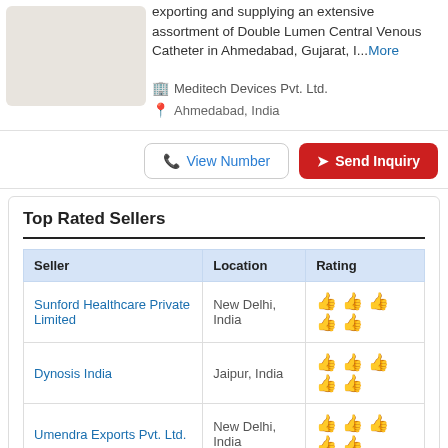[Figure (photo): Product image of Double Lumen Central Venous Catheter, off-white/beige colored medical device on white background]
exporting and supplying an extensive assortment of Double Lumen Central Venous Catheter in Ahmedabad, Gujarat, I...More
Meditech Devices Pvt. Ltd.
Ahmedabad, India
View Number
Send Inquiry
Top Rated Sellers
| Seller | Location | Rating |
| --- | --- | --- |
| Sunford Healthcare Private Limited | New Delhi, India | 👍👍👍👍👍 |
| Dynosis India | Jaipur, India | 👍👍👍👍👍 |
| Umendra Exports Pvt. Ltd. | New Delhi, India | 👍👍👍👍👍 |
| Medtech Devices | New Delhi, India | 👍👍👍👍 |